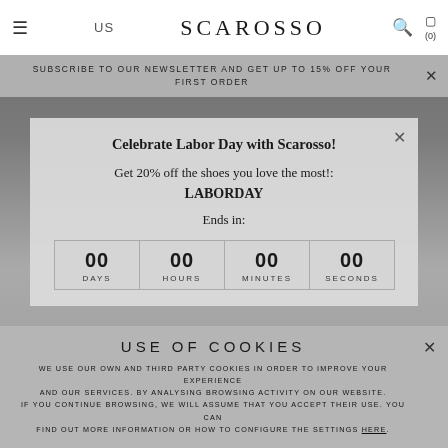US  SCAROSSO  (0)
SUBSCRIBE TO OUR NEWSLETTER AND GET UP TO 15% OFF YOUR FIRST ORDER
Celebrate Labor Day with Scarosso!
Get 20% off the shoes you love the most!: LABORDAY
Ends in:
[Figure (infographic): Countdown timer showing 00 DAYS, 00 HOURS, 00 MINUTES, 00 SECONDS]
USE OF COOKIES
WE USE OUR OWN AND THIRD PARTY COOKIES IN ORDER TO IMPROVE YOUR EXPERIENCE AND OUR SERVICES. BY ANALYSING BROWSING ACTIVITY ON OUR WEBSITE. IF YOU CONTINUE BROWSING, WE WILL ASSUME THAT YOU ACCEPT THEIR USE. YOU CAN FIND OUT MORE INFORMATION OR HOW TO CONFIGURE THE SETTINGS HERE.